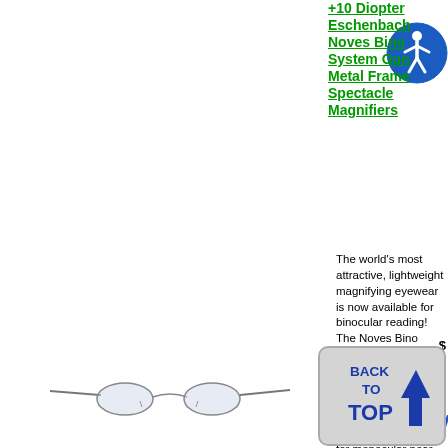+10 Diopter Eschenbach Noves Bino System Gun Metal Frame Spectacle Magnifiers
[Figure (photo): Photo of slim metal frame spectacle magnifiers (reading glasses) with thin metal arms, shown against white background]
The world's most attractive, lightweight magnifying eyewear is now available for binocular reading! The Noves Bino system from Eschenbach features the same high-tech diffractive lenses as the higher powered Noves 'mono' system for monocular near magnification, but in lower powers conventionally...
[Figure (logo): Blue circle accessibility icon with white stick figure person with arms raised]
[Figure (other): Blue circle info button with letter i and partial M text]
Eschenbach Noves Mono System (3x Left) Gold Frame Spectacle...
[Figure (other): Back to Top button: gray rounded rectangle with BACK TO TOP text and blue upward arrow]